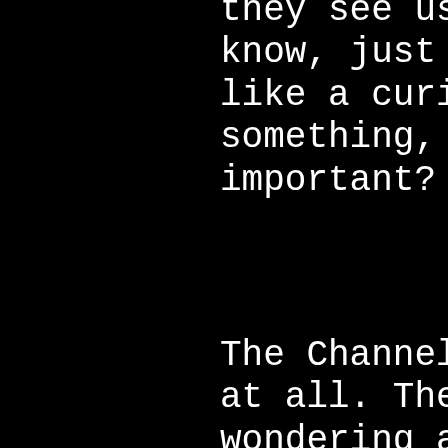they see us as not important, you know, just a curiosity for one time, like a curiosity like a circus or something, and then not really important?
The Channellors: It is not like that at all. They are impressed and wondering about